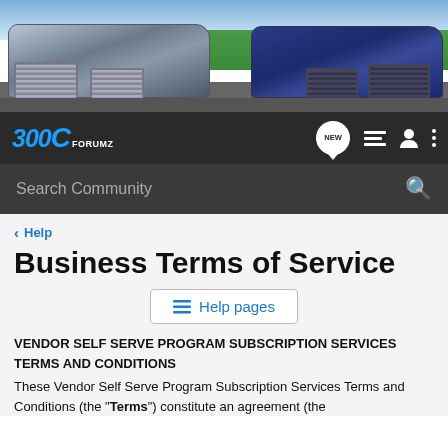[Figure (photo): Two dark-colored Chrysler 300C cars photographed from the front/side angle, one dark grey/black on left, one dark blue on right, on a road with green hills and blue sky in the background.]
300C FORUMZ — NEW | list view | user | menu
Search Community
< Help
Business Terms of Service
≡ Help pages
VENDOR SELF SERVE PROGRAM SUBSCRIPTION SERVICES TERMS AND CONDITIONS
These Vendor Self Serve Program Subscription Services Terms and Conditions (the "Terms") constitute an agreement (the